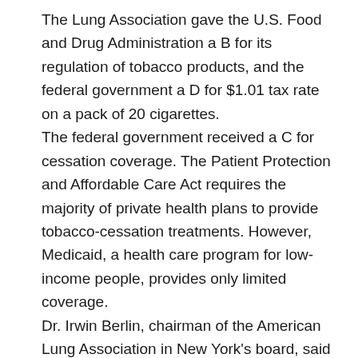The Lung Association gave the U.S. Food and Drug Administration a B for its regulation of tobacco products, and the federal government a D for $1.01 tax rate on a pack of 20 cigarettes. The federal government received a C for cessation coverage. The Patient Protection and Affordable Care Act requires the majority of private health plans to provide tobacco-cessation treatments. However, Medicaid, a health care program for low-income people, provides only limited coverage. Dr. Irwin Berlin, chairman of the American Lung Association in New York's board, said there are too many barriers to treatment in the state. “We need better coverage for cessation so everyone can access it,” he said. Berlin, chief of the Pulmonary/Critical Care Medicine Division at Elmhurst Hospital Center in Queens, said he’s witnessed the “grim reality that tobacco use inflicts on